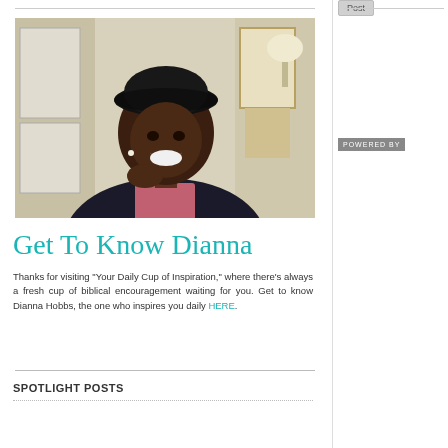[Figure (photo): Portrait photo of Dianna Hobbs, a smiling woman wearing a black hat and dark blazer, seated in an interior room setting]
Get To Know Dianna
Thanks for visiting "Your Daily Cup of Inspiration," where there's always a fresh cup of biblical encouragement waiting for you. Get to know Dianna Hobbs, the one who inspires you daily HERE.
SPOTLIGHT POSTS